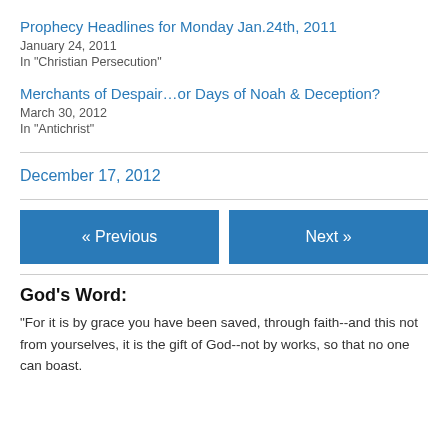Prophecy Headlines for Monday Jan.24th, 2011
January 24, 2011
In "Christian Persecution"
Merchants of Despair…or Days of Noah & Deception?
March 30, 2012
In "Antichrist"
December 17, 2012
« Previous
Next »
God's Word:
"For it is by grace you have been saved, through faith--and this not from yourselves, it is the gift of God--not by works, so that no one can boast.